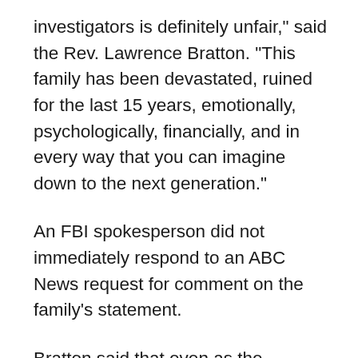investigators is definitely unfair," said the Rev. Lawrence Bratton. "This family has been devastated, ruined for the last 15 years, emotionally, psychologically, financially, and in every way that you can imagine down to the next generation."
An FBI spokesperson did not immediately respond to an ABC News request for comment on the family's statement.
Bratton said that even as the criminal justice system abandoned them, the community, as well as groups such as the National Action Network, the NAACP and the